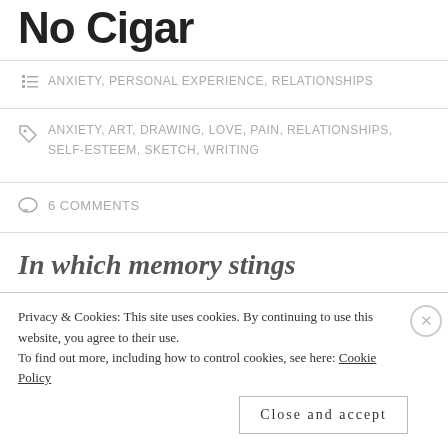No Cigar
ANXIETY, PERSONAL EXPERIENCE, RELATIONSHIPS
ANXIETY, ART, DRAWING, LOVE, PAIN, RELATIONSHIPS, SELF-ESTEEM, SKETCH, WRITING
6 COMMENTS
In which memory stings
[Figure (illustration): Partial sketch/drawing image, mostly obscured by cookie consent overlay]
Privacy & Cookies: This site uses cookies. By continuing to use this website, you agree to their use. To find out more, including how to control cookies, see here: Cookie Policy
Close and accept